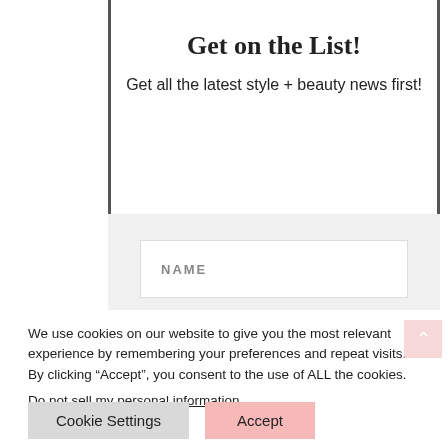Get on the List!
Get all the latest style + beauty news first!
NAME
We use cookies on our website to give you the most relevant experience by remembering your preferences and repeat visits. By clicking “Accept”, you consent to the use of ALL the cookies.
Do not sell my personal information.
Cookie Settings
Accept